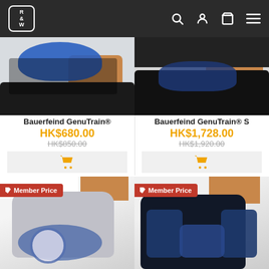[Figure (screenshot): Website header with R&W logo and navigation icons (search, user, cart, menu) on dark background]
[Figure (photo): Bauerfeind GenuTrain knee brace in blue/black on person's knee]
Bauerfeind GenuTrain®
HK$680.00
HK$850.00
[Figure (photo): Bauerfeind GenuTrain S knee brace in black on person's knee]
Bauerfeind GenuTrain® S
HK$1,728.00
HK$1,920.00
[Figure (photo): Bauerfeind knee support in grey/blue with Member Price badge]
Member Price
[Figure (photo): Bauerfeind thigh/knee support in dark navy/black with Member Price badge]
Member Price